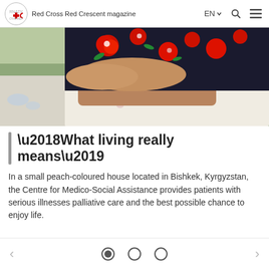Red Cross Red Crescent magazine  EN
[Figure (photo): Close-up photograph of a patient in a floral dress (red poppies on dark background) lying in a bed with white patterned bedding, in what appears to be a care facility.]
‘What living really means’
In a small peach-coloured house located in Bishkek, Kyrgyzstan, the Centre for Medico-Social Assistance provides patients with serious illnesses palliative care and the best possible chance to enjoy life.
< ◎ ○ ○ >